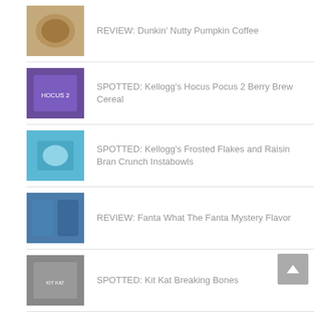REVIEW: Dunkin' Nutty Pumpkin Coffee
SPOTTED: Kellogg's Hocus Pocus 2 Berry Brew Cereal
SPOTTED: Kellogg's Frosted Flakes and Raisin Bran Crunch Instabowls
REVIEW: Fanta What The Fanta Mystery Flavor
SPOTTED: Kit Kat Breaking Bones
REVIEW: Limited Edition Dunkaroos Orange Sherbet
REVIEW: Burger King Frozen What The Fanta Mystery Flavor
REVIEW: Wendy's Homestyle French